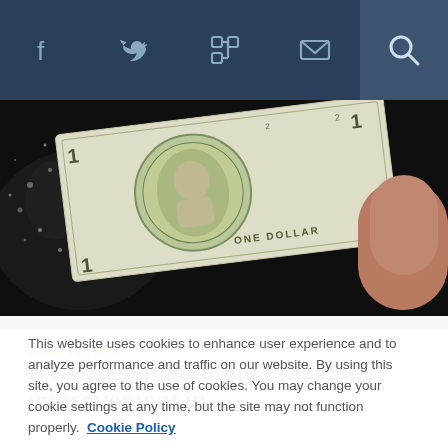Social nav bar with icons: Facebook, Twitter, LinkedIn, Email, Search
[Figure (photo): A one dollar US bill being held by a hand, partially disintegrating on the left side, on a dark background]
News / Online
OTAs see marketing efficiency improvement in ...
This website uses cookies to enhance user experience and to analyze performance and traffic on our website. By using this site, you agree to the use of cookies. You may change your cookie settings at any time, but the site may not function properly.  Cookie Policy
Close